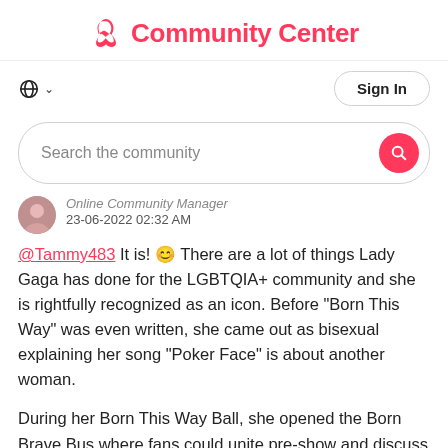Community Center
Sign In
Search the community
Online Community Manager
23-06-2022 02:32 AM
@Tammy483 It is! 😊 There are a lot of things Lady Gaga has done for the LGBTQIA+ community and she is rightfully recognized as an icon. Before "Born This Way" was even written, she came out as bisexual explaining her song "Poker Face" is about another woman.

During her Born This Way Ball, she opened the Born Brave Bus where fans could unite pre-show and discuss issues like mental health and bullying. She's one of the fiercest advocates for the community!